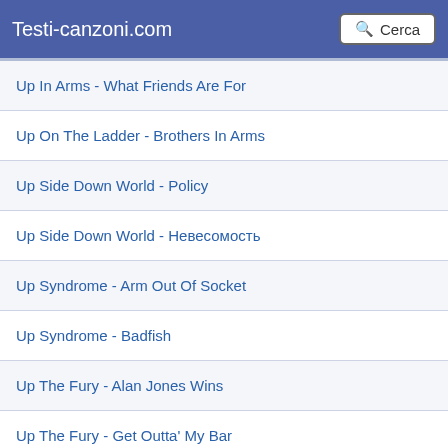Testi-canzoni.com  Cerca
Up In Arms - What Friends Are For
Up On The Ladder - Brothers In Arms
Up Side Down World - Policy
Up Side Down World - Невесомость
Up Syndrome - Arm Out Of Socket
Up Syndrome - Badfish
Up The Fury - Alan Jones Wins
Up The Fury - Get Outta' My Bar
Up The Fury - My Southaven
Up Up Down Down Left Right Left Right B A Start - Are We Seeing This?